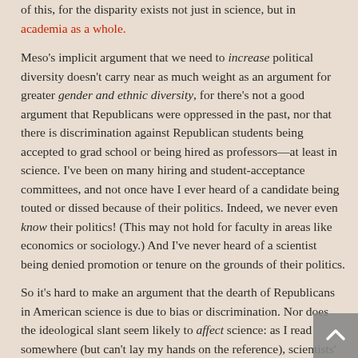of this, for the disparity exists not just in science, but in academia as a whole.
Meso's implicit argument that we need to increase political diversity doesn't carry near as much weight as an argument for greater gender and ethnic diversity, for there's not a good argument that Republicans were oppressed in the past, nor that there is discrimination against Republican students being accepted to grad school or being hired as professors—at least in science. I've been on many hiring and student-acceptance committees, and not once have I ever heard of a candidate being touted or dissed because of their politics. Indeed, we never even know their politics! (This may not hold for faculty in areas like economics or sociology.) And I've never heard of a scientist being denied promotion or tenure on the grounds of their politics.
So it's hard to make an argument that the dearth of Republicans in American science is due to bias or discrimination. Nor does the ideological slant seem likely to affect science: as I read somewhere (but can't lay my hands on the reference), scientists'